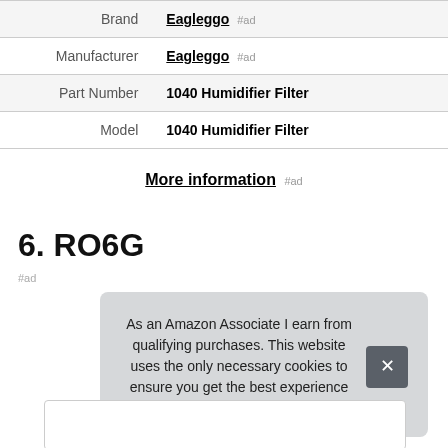| Brand | Eagleggo #ad |
| Manufacturer | Eagleggo #ad |
| Part Number | 1040 Humidifier Filter |
| Model | 1040 Humidifier Filter |
More information #ad
6. RO6G
#ad
As an Amazon Associate I earn from qualifying purchases. This website uses the only necessary cookies to ensure you get the best experience on our website. More information